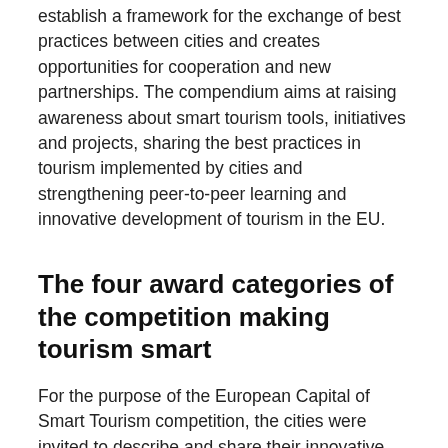establish a framework for the exchange of best practices between cities and creates opportunities for cooperation and new partnerships. The compendium aims at raising awareness about smart tourism tools, initiatives and projects, sharing the best practices in tourism implemented by cities and strengthening peer-to-peer learning and innovative development of tourism in the EU.
The four award categories of the competition making tourism smart
For the purpose of the European Capital of Smart Tourism competition, the cities were invited to describe and share their innovative projects, ideas and initiatives implemented under each of the four award categories (Accessibility, Digitalisation, Sustainability, Cultural Heritage & Creativity) which helped them to improve their profile as a tourism destination.